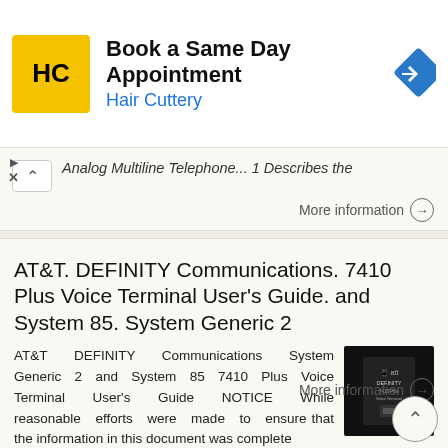[Figure (screenshot): Advertisement banner for Hair Cuttery: Book a Same Day Appointment, with HC logo and blue navigation arrow icon]
Analog Multiline Telephone... 1 Describes the
More information →
AT&T. DEFINITY Communications. 7410 Plus Voice Terminal User's Guide. and System 85. System Generic 2
AT&T DEFINITY Communications System Generic 2 and System 85 7410 Plus Voice Terminal User's Guide NOTICE While reasonable efforts were made to ensure that the information in this document was complete
[Figure (photo): Dark thumbnail image of a book/manual cover for AT&T DEFINITY guide]
More information →